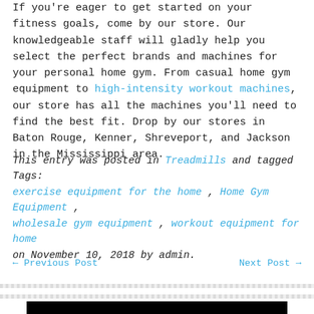If you're eager to get started on your fitness goals, come by our store. Our knowledgeable staff will gladly help you select the perfect brands and machines for your personal home gym. From casual home gym equipment to high-intensity workout machines, our store has all the machines you'll need to find the best fit. Drop by our stores in Baton Rouge, Kenner, Shreveport, and Jackson in the Mississippi area.
This entry was posted in Treadmills and tagged Tags: exercise equipment for the home , Home Gym Equipment , wholesale gym equipment , workout equipment for home on November 10, 2018 by admin.
← Previous Post    Next Post →
[Figure (photo): Black background image, partially visible at bottom of page, with a white circular shape partially visible at the bottom center.]